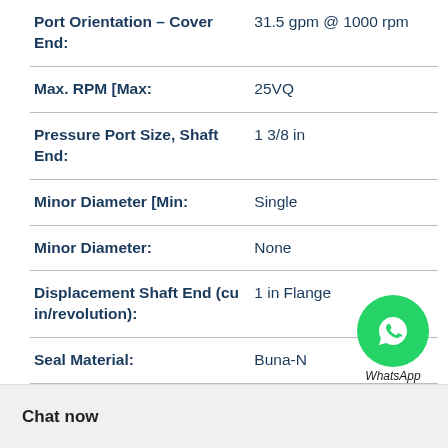| Property | Value |
| --- | --- |
| Port Orientation – Cover End: | 31.5 gpm @ 1000 rpm |
| Max. RPM [Max: | 25VQ |
| Pressure Port Size, Shaft End: | 1 3/8 in |
| Minor Diameter [Min: | Single |
| Minor Diameter: | None |
| Displacement Shaft End (cu in/revolution): | 1 in Flange |
| Seal Material: | Buna-N |
| Spline Description: | 2500 |
| Minor Diameter [M… | 3000 psi |
|  | 21 1/2 |